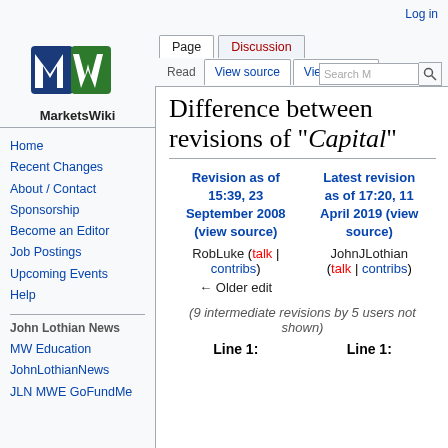Log in
[Figure (logo): MarketsWiki logo with blue and green M-W graphic and 'MarketsWiki' text below]
Home
Recent Changes
About / Contact
Sponsorship
Become an Editor
Job Postings
Upcoming Events
Help
John Lothian News
MW Education
JohnLothianNews
JLN MWE GoFundMe
Difference between revisions of "Capital"
| Revision as of 15:39, 23 September 2008 (view source) | Latest revision as of 17:20, 11 April 2019 (view source) |
| --- | --- |
| RobLuke (talk | contribs) | JohnJLothian (talk | contribs) |
| ← Older edit |  |
(9 intermediate revisions by 5 users not shown)
Line 1:
Line 1: